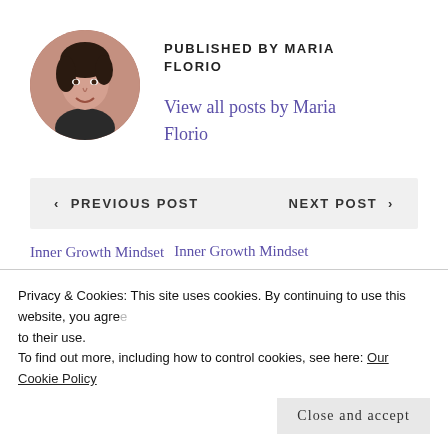[Figure (photo): Circular author photo of Maria Florio, a woman with short dark hair, smiling, against a warm background.]
PUBLISHED BY MARIA FLORIO
View all posts by Maria Florio
< PREVIOUS POST    NEXT POST >
Inner Growth Mindset
Inner Growth Mindset
Privacy & Cookies: This site uses cookies. By continuing to use this website, you agree to their use.
To find out more, including how to control cookies, see here: Our Cookie Policy
Close and accept